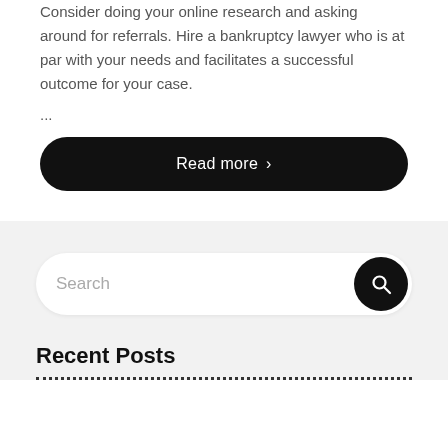Consider doing your online research and asking around for referrals. Hire a bankruptcy lawyer who is at par with your needs and facilitates a successful outcome for your case.
...
Read more >
Search
Recent Posts